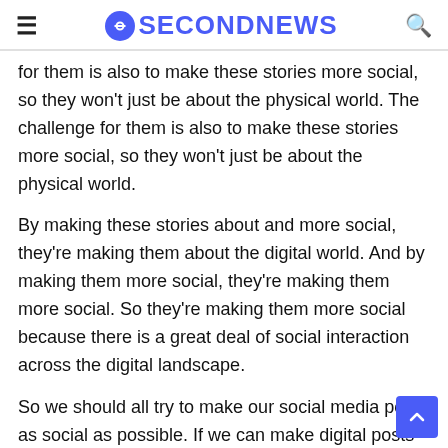≡ ⊖SECONDNEWS 🔍
for them is also to make these stories more social, so they won't just be about the physical world. The challenge for them is also to make these stories more social, so they won't just be about the physical world.
By making these stories about and more social, they're making them about the digital world. And by making them more social, they're making them more social. So they're making them more social because there is a great deal of social interaction across the digital landscape.
So we should all try to make our social media posts as social as possible. If we can make digital posts that are social and social posts that are digital posts, then we should be able to make social posts that are digital posts